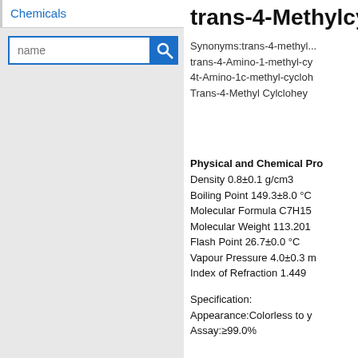Chemicals
name
trans-4-Methylcy
Synonyms: trans-4-methyl...
trans-4-Amino-1-methyl-cy
4t-Amino-1c-methyl-cycloh
Trans-4-Methyl Cylclohey
Physical and Chemical Pro
Density 0.8±0.1 g/cm3
Boiling Point 149.3±8.0 °C
Molecular Formula C7H15
Molecular Weight 113.201
Flash Point 26.7±0.0 °C
Vapour Pressure 4.0±0.3 m
Index of Refraction 1.449
Specification:
Appearance:Colorless to y
Assay:≥99.0%
Packing:200 kg/drum, can
Storage:Store in a cool, ve
Application:Intermediate of